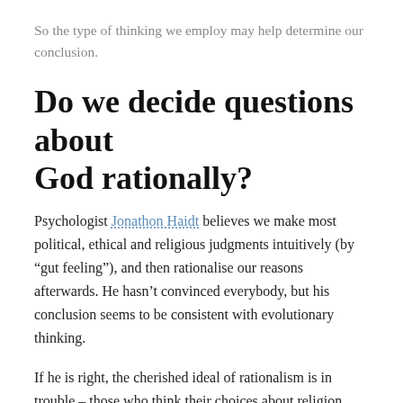So the type of thinking we employ may help determine our conclusion.
Do we decide questions about God rationally?
Psychologist Jonathon Haidt believes we make most political, ethical and religious judgments intuitively (by “gut feeling”), and then rationalise our reasons afterwards. He hasn’t convinced everybody, but his conclusion seems to be consistent with evolutionary thinking.
If he is right, the cherished ideal of rationalism is in trouble – those who think their choices about religion